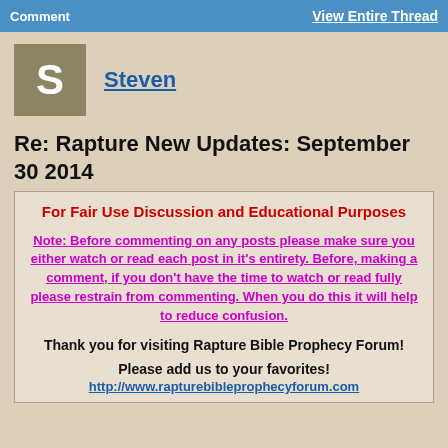Comment | View Entire Thread
[Figure (other): User avatar square with letter S on olive/khaki background]
Steven
Re: Rapture New Updates: September 30 2014
For Fair Use Discussion and Educational Purposes
Note: Before commenting on any posts please make sure you either watch or read each post in it's entirety. Before, making a comment, if you don't have the time to watch or read fully please restrain from commenting. When you do this it will help to reduce confusion.
Thank you for visiting Rapture Bible Prophecy Forum!
Please add us to your favorites!
http://www.rapturebibleprophecyforum.com